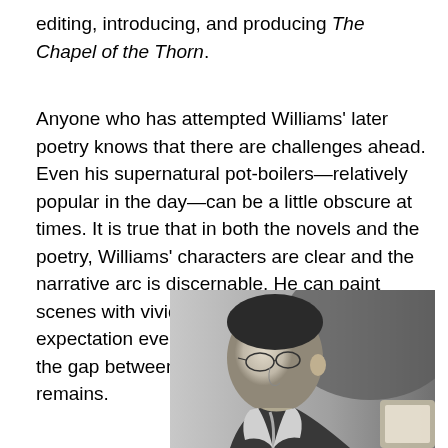editing, introducing, and producing The Chapel of the Thorn.
Anyone who has attempted Williams' later poetry knows that there are challenges ahead. Even his supernatural pot-boilers—relatively popular in the day—can be a little obscure at times. It is true that in both the novels and the poetry, Williams' characters are clear and the narrative arc is discernable. He can paint scenes with vividness and heighten expectation even for the tentative reader. Still, the gap between reader and writer often remains.
[Figure (photo): Black and white photograph of a man in side profile, wearing glasses and a suit, looking downward, holding what appears to be a paper.]